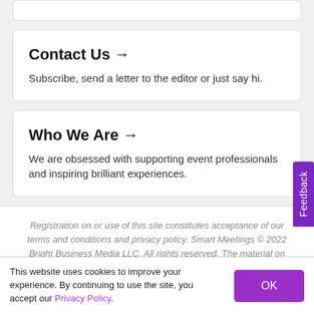Contact Us →
Subscribe, send a letter to the editor or just say hi.
Who We Are →
We are obsessed with supporting event professionals and inspiring brilliant experiences.
Registration on or use of this site constitutes acceptance of our terms and conditions and privacy policy. Smart Meetings © 2022 Bright Business Media LLC. All rights reserved. The material on this
This website uses cookies to improve your experience. By continuing to use the site, you accept our Privacy Policy.